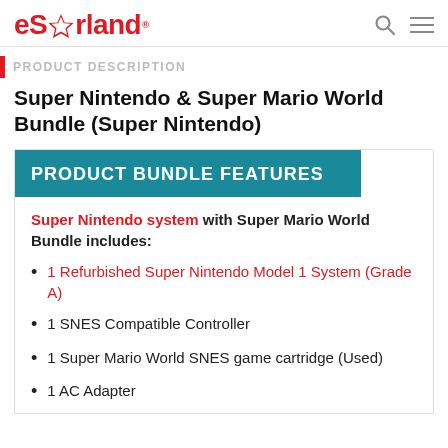eStarland
PRODUCT DESCRIPTION
Super Nintendo & Super Mario World Bundle (Super Nintendo)
PRODUCT BUNDLE FEATURES
Super Nintendo system with Super Mario World Bundle includes:
1 Refurbished Super Nintendo Model 1 System (Grade A)
1 SNES Compatible Controller
1 Super Mario World SNES game cartridge (Used)
1 AC Adapter